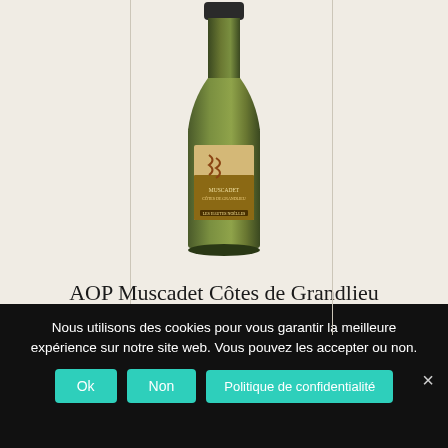[Figure (photo): Wine bottle with label for AOP Muscadet Côtes de Grandlieu Les Hautes Noëlles, olive-green glass bottle]
AOP Muscadet Côtes de Grandlieu « Les Hautes Noëlles »
Unit price incl. VAT: 20,00 €
Nous utilisons des cookies pour vous garantir la meilleure expérience sur notre site web. Vous pouvez les accepter ou non.